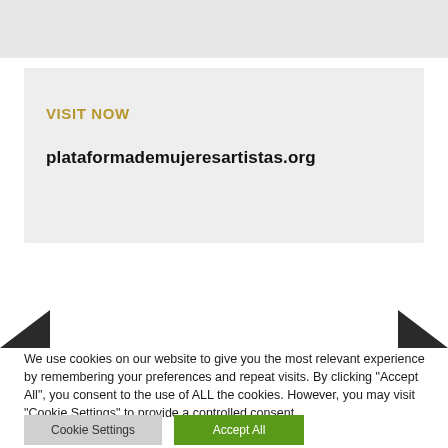[Figure (screenshot): Gray bar at top of page, partial website screenshot]
VISIT NOW
plataformademujeresartistas.org
We use cookies on our website to give you the most relevant experience by remembering your preferences and repeat visits. By clicking "Accept All", you consent to the use of ALL the cookies. However, you may visit "Cookie Settings" to provide a controlled consent.
Cookie Settings
Accept All